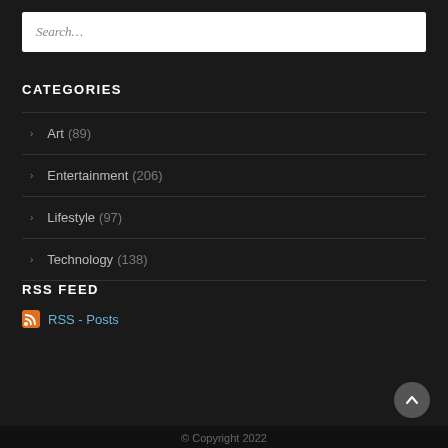Search...
CATEGORIES
> Art (89)
> Entertainment (206)
> Lifestyle (97)
> Technology (138)
RSS FEED
RSS - Posts
© Copyright 2022